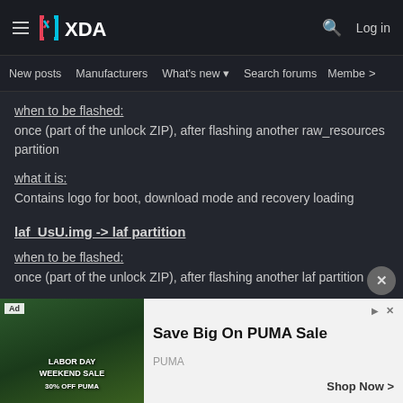XDA Developers - hamburger menu, XDA logo, search icon, Log in
New posts  Manufacturers  What's new  Search forums  Membe  >
when to be flashed:
once (part of the unlock ZIP), after flashing another raw_resources partition
what it is:
Contains logo for boot, download mode and recovery loading
laf_UsU.img -> laf partition
when to be flashed:
once (part of the unlock ZIP), after flashing another laf partition
[Figure (screenshot): Ad overlay from PUMA: 'Save Big On PUMA Sale' with Labor Day Weekend Sale image on left and ad text on right with Shop Now button]
what it is:
The laf p... for UsU and SAL...